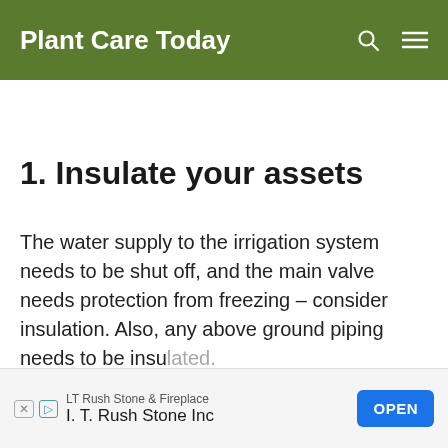Plant Care Today
1. Insulate your assets
The water supply to the irrigation system needs to be shut off, and the main valve needs protection from freezing – consider insulation. Also, any above ground piping needs to be insulated.